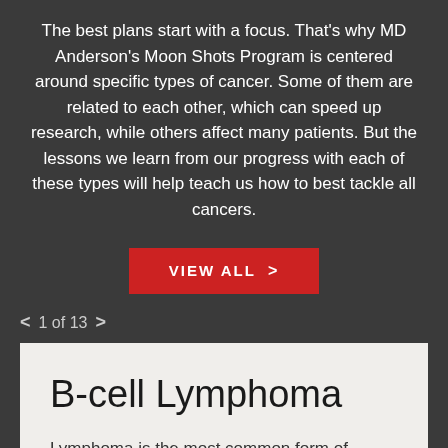The best plans start with a focus. That's why MD Anderson's Moon Shots Program is centered around specific types of cancer. Some of them are related to each other, which can speed up research, while others affect many patients. But the lessons we learn from our progress with each of these types will help teach us how to best tackle all cancers.
VIEW ALL >
< 1 of 13 >
B-cell Lymphoma
Lymphoma is the most common form of